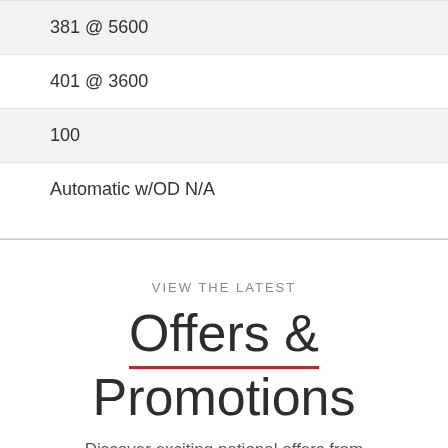381 @ 5600
401 @ 3600
100
Automatic w/OD N/A
VIEW THE LATEST
Offers & Promotions
Discover exciting national offers from